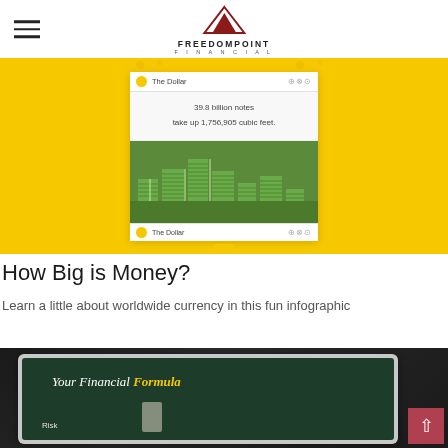FreedomPoint Financial
[Figure (screenshot): Screenshot of an infographic app showing 'The Dollar' with text '39.8 billion notes take up 1,756,905 cubic feet.' and animated green money stacks on a yellow background.]
How Big is Money?
Learn a little about worldwide currency in this fun infographic
[Figure (photo): Photo of a tablet device displaying 'Your Financial Formula' with 'Risk' and other financial labels on a dark green background, held by a person's hand against a dark surface. A red scroll-to-top button is visible in the bottom right corner.]